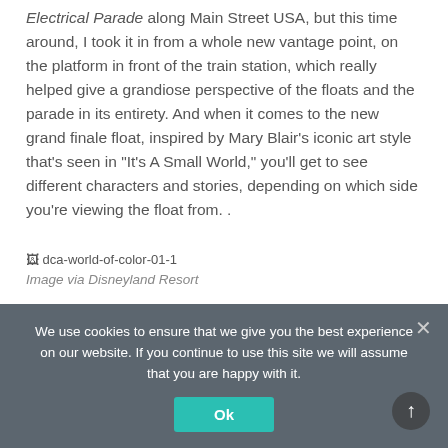Electrical Parade along Main Street USA, but this time around, I took it in from a whole new vantage point, on the platform in front of the train station, which really helped give a grandiose perspective of the floats and the parade in its entirety. And when it comes to the new grand finale float, inspired by Mary Blair's iconic art style that's seen in "It's A Small World," you'll get to see different characters and stories, depending on which side you're viewing the float from. .
[Figure (photo): Broken image placeholder showing 'dca-world-of-color-01-1']
Image via Disneyland Resort
We use cookies to ensure that we give you the best experience on our website. If you continue to use this site we will assume that you are happy with it.